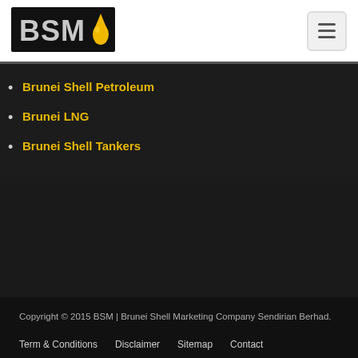[Figure (logo): BSM logo — black rectangle with bold 'BSM' text in white/grey and a yellow oil drop shape on the right]
Brunei Shell Petroleum
Brunei LNG
Brunei Shell Tankers
Copyright © 2015 BSM | Brunei Shell Marketing Company Sendirian Berhad.
Term & Conditions   Disclaimer   Sitemap   Contact